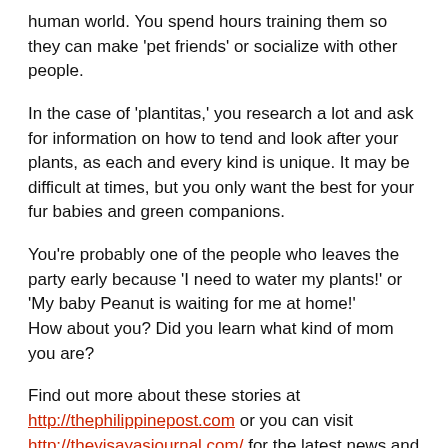human world. You spend hours training them so they can make 'pet friends' or socialize with other people.
In the case of 'plantitas,' you research a lot and ask for information on how to tend and look after your plants, as each and every kind is unique. It may be difficult at times, but you only want the best for your fur babies and green companions.
You're probably one of the people who leaves the party early because 'I need to water my plants!' or 'My baby Peanut is waiting for me at home!'
How about you? Did you learn what kind of mom you are?
Find out more about these stories at http://thephilippinepost.com or you can visit http://thevisayasjournal.com/ for the latest news and updates.